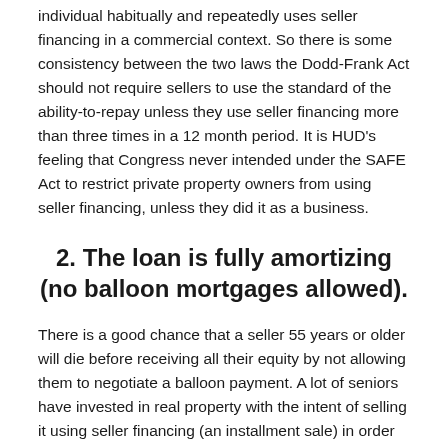individual habitually and repeatedly uses seller financing in a commercial context. So there is some consistency between the two laws the Dodd-Frank Act should not require sellers to use the standard of the ability-to-repay unless they use seller financing more than three times in a 12 month period. It is HUD's feeling that Congress never intended under the SAFE Act to restrict private property owners from using seller financing, unless they did it as a business.
2. The loan is fully amortizing (no balloon mortgages allowed).
There is a good chance that a seller 55 years or older will die before receiving all their equity by not allowing them to negotiate a balloon payment. A lot of seniors have invested in real property with the intent of selling it using seller financing (an installment sale) in order to